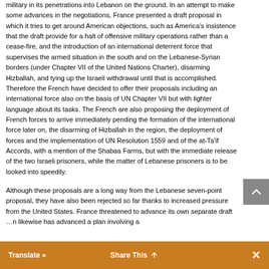military in its penetrations into Lebanon on the ground. In an attempt to make some advances in the negotiations, France presented a draft proposal in which it tries to get around American objections, such as America's insistence that the draft provide for a halt of offensive military operations rather than a cease-fire, and the introduction of an international deterrent force that supervises the armed situation in the south and on the Lebanese-Syrian borders (under Chapter VII of the United Nations Charter), disarming Hizballah, and tying up the Israeli withdrawal until that is accomplished. Therefore the French have decided to offer their proposals including an international force also on the basis of UN Chapter VII but with lighter language about its tasks. The French are also proposing the deployment of French forces to arrive immediately pending the formation of the international force later on, the disarming of Hizballah in the region, the deployment of forces and the implementation of UN Resolution 1559 and of the at-Ta'if Accords, with a mention of the Shabaa Farms, but with the immediate release of the two Israeli prisoners, while the matter of Lebanese prisoners is to be looked into speedily.
Although these proposals are a long way from the Lebanese seven-point proposal, they have also been rejected so far thanks to increased pressure from the United States. France threatened to advance its own separate draft … likewise has advanced a plan involving a
Translate »   Share This   ×